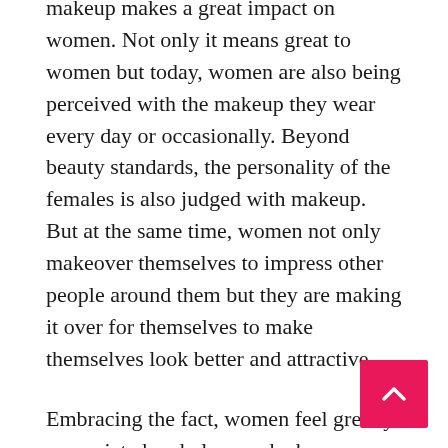makeup makes a great impact on women. Not only it means great to women but today, women are also being perceived with the makeup they wear every day or occasionally. Beyond beauty standards, the personality of the females is also judged with makeup. But at the same time, women not only makeover themselves to impress other people around them but they are making it over for themselves to make themselves look better and attractive.
Embracing the fact, women feel greatly appreciated and pleasured when a compliment is passed on their beauty and attractiveness. The appreciation received for the beauty is something that means a lot to women and is incomparable. However, considering